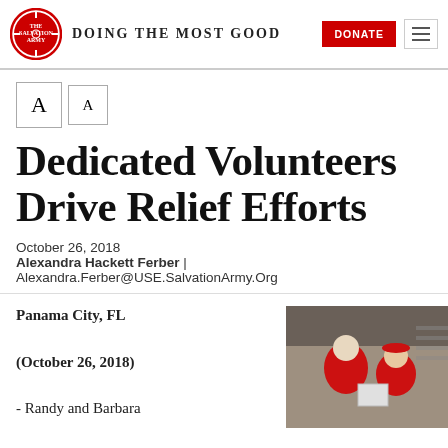DOING THE MOST GOOD | DONATE
Dedicated Volunteers Drive Relief Efforts
October 26, 2018
Alexandra Hackett Ferber | Alexandra.Ferber@USE.SalvationArmy.Org
Panama City, FL
(October 26, 2018)
- Randy and Barbara
[Figure (photo): Two volunteers in red Salvation Army clothing handing items from a truck or vehicle]